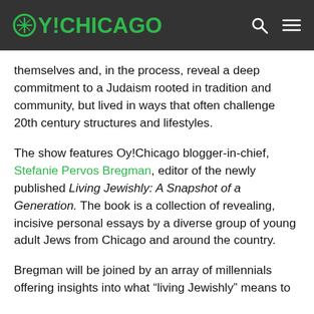OY!CHICAGO
themselves and, in the process, reveal a deep commitment to a Judaism rooted in tradition and community, but lived in ways that often challenge 20th century structures and lifestyles.
The show features Oy!Chicago blogger-in-chief, Stefanie Pervos Bregman, editor of the newly published Living Jewishly: A Snapshot of a Generation. The book is a collection of revealing, incisive personal essays by a diverse group of young adult Jews from Chicago and around the country.
Bregman will be joined by an array of millennials offering insights into what “living Jewishly” means to